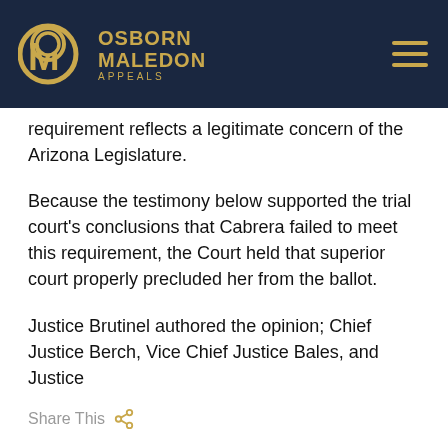[Figure (logo): Osborn Maledon Appeals logo — circular OM monogram in gold on dark navy background, with firm name OSBORN MALEDON APPEALS in gold text to the right, and a hamburger menu icon on the far right]
requirement reflects a legitimate concern of the Arizona Legislature.
Because the testimony below supported the trial court's conclusions that Cabrera failed to meet this requirement, the Court held that superior court properly precluded her from the ballot.
Justice Brutinel authored the opinion; Chief Justice Berch, Vice Chief Justice Bales, and Justice
Share This